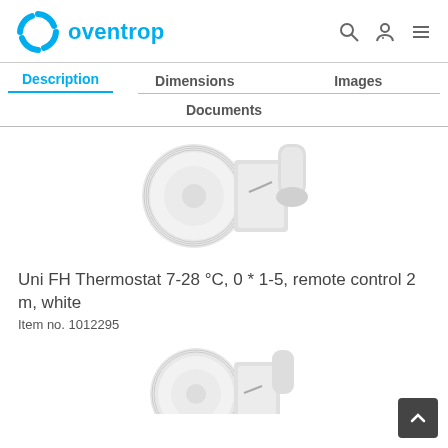oventrop
Description | Dimensions | Images | Documents
[Figure (photo): Oventrop Uni FH Thermostat product photo showing white thermostatic head with remote sensor and capillary tube]
Uni FH Thermostat 7-28 °C, 0 * 1-5, remote control 2 m, white
Item no. 1012295
[Figure (photo): Second partial view of the Oventrop Uni FH Thermostat product]